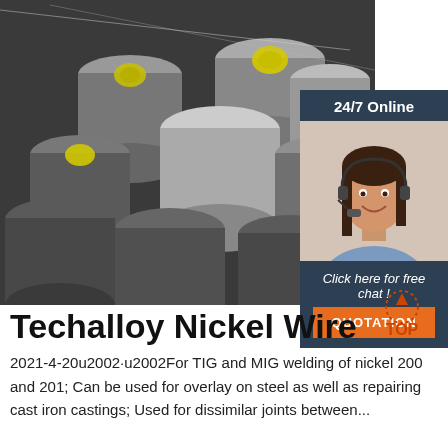[Figure (photo): Photo of stacked steel/nickel alloy round bars/rods with yellow end-cap labels, stored in a warehouse or yard.]
[Figure (photo): 24/7 Online customer service representative - woman with headset smiling.]
24/7 Online
Click here for free chat !
QUOTATION
Techalloy Nickel Wire
2021-4-20u2002·u2002For TIG and MIG welding of nickel 200 and 201; Can be used for overlay on steel as well as repairing cast iron castings; Used for dissimilar joints between...